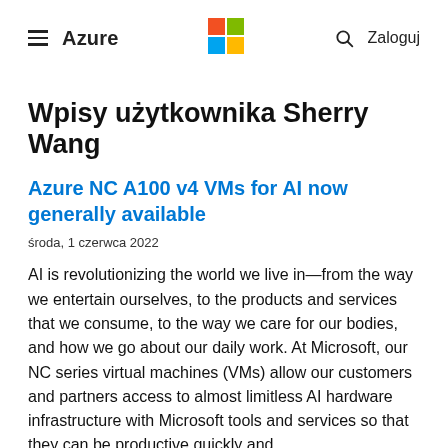≡ Azure  [Microsoft Logo]  🔍 Zaloguj
Wpisy użytkownika Sherry Wang
Azure NC A100 v4 VMs for AI now generally available
środa, 1 czerwca 2022
AI is revolutionizing the world we live in—from the way we entertain ourselves, to the products and services that we consume, to the way we care for our bodies, and how we go about our daily work. At Microsoft, our NC series virtual machines (VMs) allow our customers and partners access to almost limitless AI hardware infrastructure with Microsoft tools and services so that they can be productive quickly and